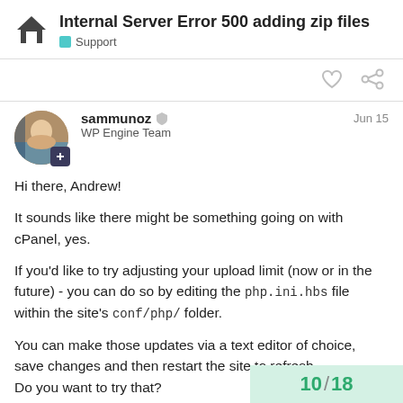Internal Server Error 500 adding zip files — Support
sammunoz · WP Engine Team · Jun 15
Hi there, Andrew!
It sounds like there might be something going on with cPanel, yes.
If you'd like to try adjusting your upload limit (now or in the future) - you can do so by editing the php.ini.hbs file within the site's conf/php/ folder.
You can make those updates via a text editor of choice, save changes and then restart the site to refresh.
Do you want to try that?
10 / 18